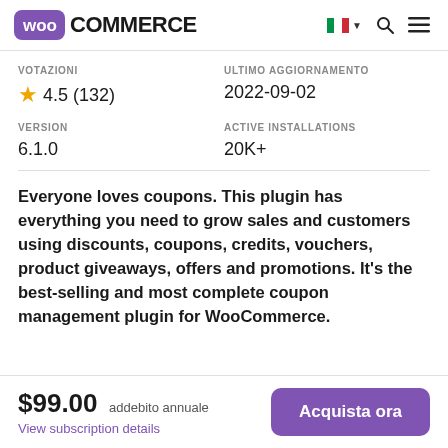WooCommerce
| VOTAZIONI | ULTIMO AGGIORNAMENTO |
| --- | --- |
| ⭐ 4.5 (132) | 2022-09-02 |
| VERSION | ACTIVE INSTALLATIONS |
| --- | --- |
| 6.1.0 | 20K+ |
Everyone loves coupons. This plugin has everything you need to grow sales and customers using discounts, coupons, credits, vouchers, product giveaways, offers and promotions. It's the best-selling and most complete coupon management plugin for WooCommerce.
$99.00 addebito annuale
View subscription details
Acquista ora